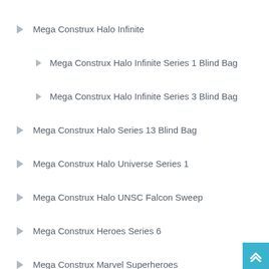Mega Construx Halo Infinite
Mega Construx Halo Infinite Series 1 Blind Bag
Mega Construx Halo Infinite Series 3 Blind Bag
Mega Construx Halo Series 13 Blind Bag
Mega Construx Halo Universe Series 1
Mega Construx Halo UNSC Falcon Sweep
Mega Construx Heroes Series 6
Mega Construx Marvel Superheroes
Mega Construx Masters of the Universe
Mega Construx Masters of the Universe Advent